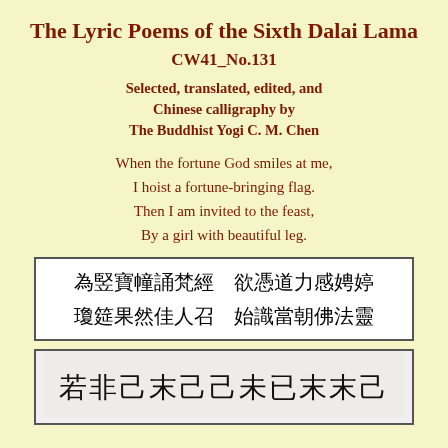The Lyric Poems of the Sixth Dalai Lama
CW41_No.131
Selected, translated, edited, and
Chinese calligraphy by
The Buddhist Yogi C. M. Chen
When the fortune God smiles at me,
I hoist a fortune-bringing flag.
Then I am invited to the feast,
By a girl with beautiful leg.
[Figure (other): Chinese calligraphy text in a bordered box: 為竪寶幢誦梵經 欲憑道力感娉婷 瓊筵果然佳人召 始識當朝佛法靈]
[Figure (other): Chinese calligraphy artwork in a bordered box showing brushwork characters]